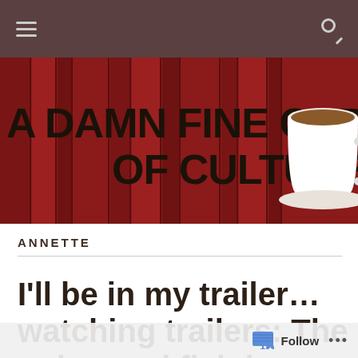Navigation bar with hamburger menu and search icon
[Figure (illustration): Blog header banner with dark red book spines background showing blog title 'A DAMN FINE CUP OF CULTURE' in large bold black text, with a white coffee cup on the right side]
ANNETTE
I'll be in my trailer... watching trailers: The only good fish is a
Follow